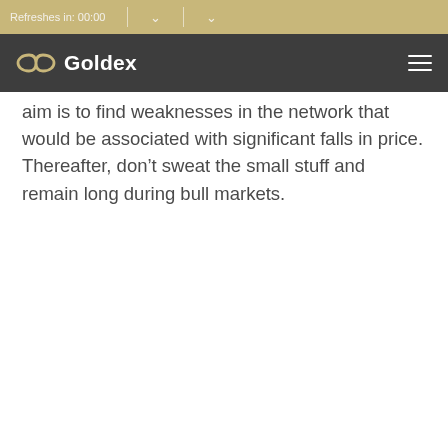Refreshes in: 00:00
[Figure (logo): Goldex logo with infinity symbol on dark grey navigation bar]
aim is to find weaknesses in the network that would be associated with significant falls in price. Thereafter, don’t sweat the small stuff and remain long during bull markets.